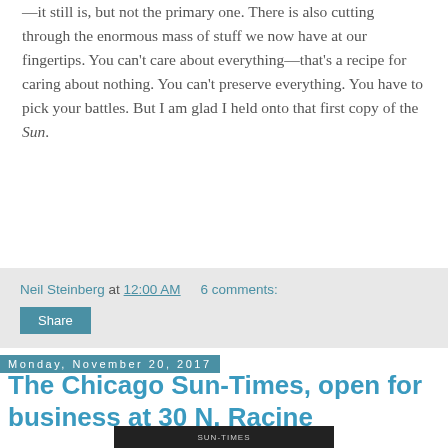—it still is, but not the primary one. There is also cutting through the enormous mass of stuff we now have at our fingertips. You can't care about everything—that's a recipe for caring about nothing. You can't preserve everything. You have to pick your battles. But I am glad I held onto that first copy of the Sun.
Neil Steinberg at 12:00 AM   6 comments:
Share
Monday, November 20, 2017
The Chicago Sun-Times, open for business at 30 N. Racine
[Figure (photo): Partial view of a photograph, bottom of page, showing a dark image with a small label/caption strip visible]